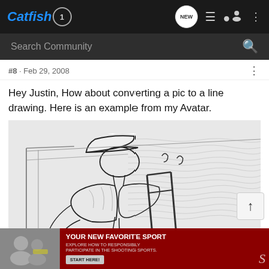Catfish1 — Navigation bar with logo, NEW, list, profile, and more icons, plus Search Community bar
#8 · Feb 29, 2008
Hey Justin, How about converting a pic to a line drawing. Here is an example from my Avatar.
[Figure (illustration): A line-drawing style sketch of a person wearing a cap and sitting, seemingly on a boat, with water visible in the background. The image is a pencil/edge-detect style rendering in black and white.]
[Figure (photo): Advertisement banner at the bottom: photo of people on the left, red background with text YOUR NEW FAVORITE SPORT, EXPLORE HOW TO RESPONSIBLY PARTICIPATE IN THE SHOOTING SPORTS. START HERE button.]